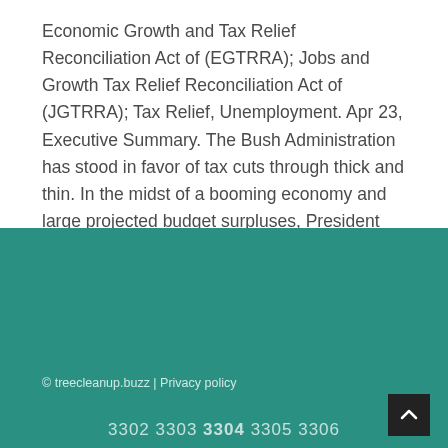Economic Growth and Tax Relief Reconciliation Act of (EGTRRA); Jobs and Growth Tax Relief Reconciliation Act of (JGTRRA); Tax Relief, Unemployment. Apr 23, Executive Summary. The Bush Administration has stood in favor of tax cuts through thick and thin. In the midst of a booming economy and large projected budget surpluses, President Bush's top economic policy initiative - both as a candidate in and upon taking office - was to cut taxes.
© treecleanup.buzz | Privacy policy
3302 3303 3304 3305 3306